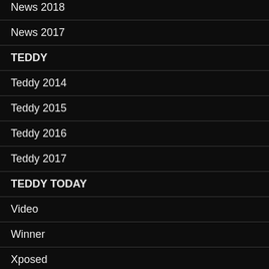News 2018
News 2017
TEDDY
Teddy 2014
Teddy 2015
Teddy 2016
Teddy 2017
TEDDY TODAY
Video
Winner
Xposed
META